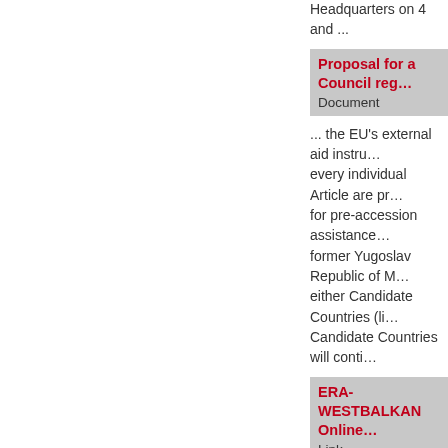Headquarters on 4 and ...
Proposal for a Council reg…
Document
... the EU's external aid instru… every individual Article are pr… for pre-accession assistance.… former Yugoslav Republic of M… either Candidate Countries (li… Candidate Countries will conti…
ERA-WESTBALKAN Online…
Link
The online directory is a colle… Macedonia, Montenegro and …
Ministry of Science - Monte…
Organisation
... international scientific coop… programmes of general intere… department fucuses on the to… Montenegro in the European … encourages training and machi…